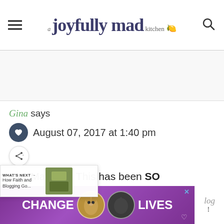a joyfully mad kitchen
Gina says
August 07, 2017 at 1:40 pm
Hey Madison! This has been SO
we... for me. I want to truncate my
[Figure (screenshot): WHAT'S NEXT overlay with thumbnail: How Faith and Blogging Go...]
[Figure (photo): Advertisement banner: CHANGE LIVES with two cat photos on purple background]